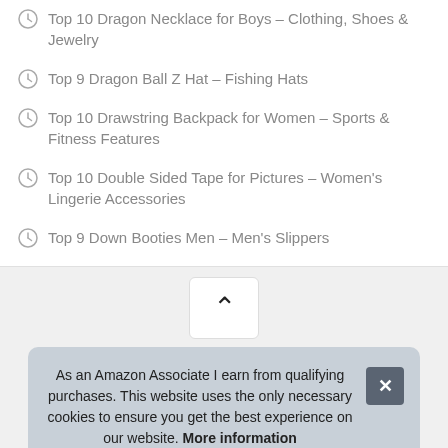Top 10 Dragon Necklace for Boys – Clothing, Shoes & Jewelry
Top 9 Dragon Ball Z Hat – Fishing Hats
Top 10 Drawstring Backpack for Women – Sports & Fitness Features
Top 10 Double Sided Tape for Pictures – Women's Lingerie Accessories
Top 9 Down Booties Men – Men's Slippers
[Figure (other): Back to top chevron button]
As an Amazon Associate I earn from qualifying purchases. This website uses the only necessary cookies to ensure you get the best experience on our website. More information
R... Ass... to provide a means for sites to earn advertising fees by